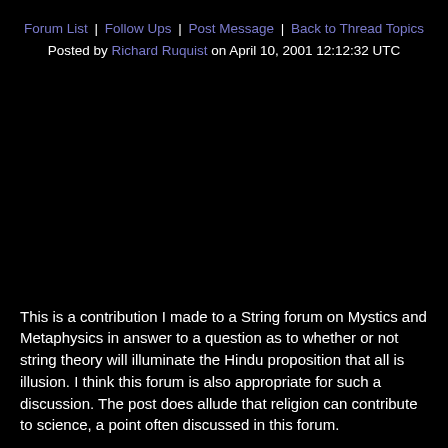Forum List | Follow Ups | Post Message | Back to Thread Topics
Posted by Richard Ruquist on April 10, 2001 12:12:32 UTC
This is a contribution I made to a String forum on Mystics and Metaphysics in answer to a question as to whether or not string theory will illuminate the Hindu proposition that all is illusion. I think this forum is also appropriate for such a discussion. The post does allude that religion can contribute to science, a point often discussed in this forum.